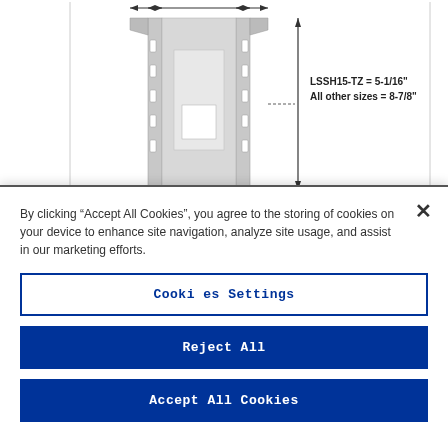[Figure (engineering-diagram): Technical engineering diagram of a metal connector bracket (LSSH series). Shows a U-shaped galvanized steel hanger with perforated sides. Dimension arrows indicate width at top and height on right side. Label reads: LSSH15-TZ = 5-1/16", All other sizes = 8-7/8"]
By clicking “Accept All Cookies”, you agree to the storing of cookies on your device to enhance site navigation, analyze site usage, and assist in our marketing efforts.
Cookies Settings
Reject All
Accept All Cookies